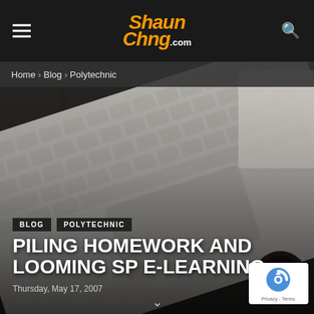ShaunChng.com
Home › Blog › Polytechnic
[Figure (photo): Overhead view of a white laptop keyboard on a dark wooden desk surface, with a notebook and coffee cup in the background]
BLOG  POLYTECHNIC
PILING HOMEWORK AND LOOMING SP E-LEARNING
Thursday, May 17, 2007